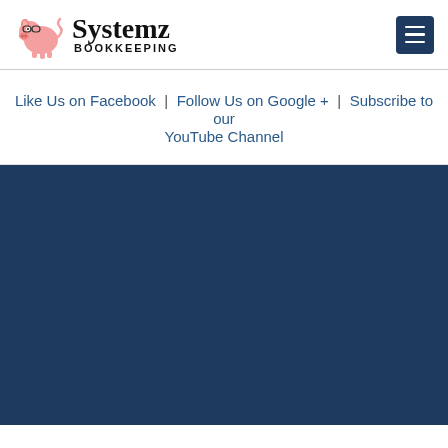[Figure (logo): Systemz Bookkeeping logo with pink piggy bank wearing glasses and bold serif brand name]
Like Us on Facebook | Follow Us on Google + | Subscribe to our YouTube Channel
[Figure (other): Dark navy blue footer/background area filling lower half of page]